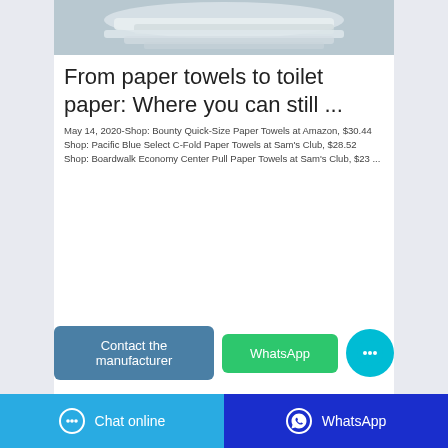[Figure (photo): Product image showing paper towels/sheets in light gray tones]
From paper towels to toilet paper: Where you can still ...
May 14, 2020-Shop: Bounty Quick-Size Paper Towels at Amazon, $30.44 Shop: Pacific Blue Select C-Fold Paper Towels at Sam's Club, $28.52 Shop: Boardwalk Economy Center Pull Paper Towels at Sam's Club, $23 ...
Contact the manufacturer
WhatsApp
Chat online   WhatsApp